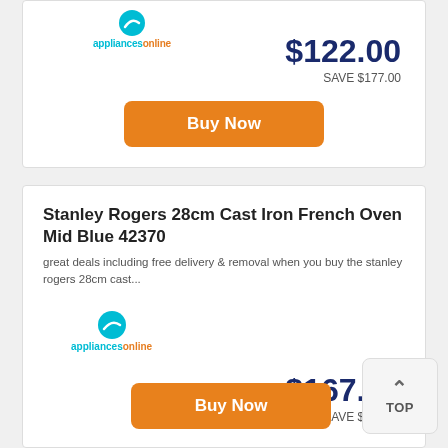[Figure (logo): appliancesonline logo with teal circle wave icon]
$122.00
SAVE $177.00
Buy Now
Stanley Rogers 28cm Cast Iron French Oven Mid Blue 42370
great deals including free delivery & removal when you buy the stanley rogers 28cm cast...
[Figure (logo): appliancesonline logo with teal circle wave icon]
$167.00
SAVE $202.00
Buy Now